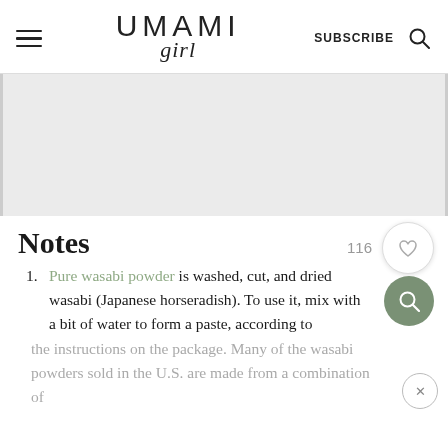UMAMI girl — SUBSCRIBE
[Figure (photo): Gray placeholder image area for a recipe photo]
Notes
Pure wasabi powder is washed, cut, and dried wasabi (Japanese horseradish). To use it, mix with a bit of water to form a paste, according to the instructions on the package. Many of the wasabi powders sold in the U.S. are made from a combination of